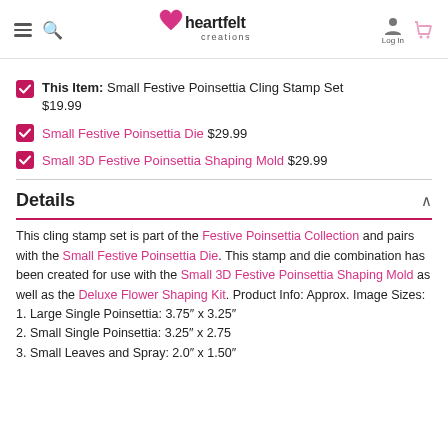Heartfelt Creations — navigation header with logo, search, login, and cart
This Item: Small Festive Poinsettia Cling Stamp Set $19.99
Small Festive Poinsettia Die $29.99
Small 3D Festive Poinsettia Shaping Mold $29.99
Details
This cling stamp set is part of the Festive Poinsettia Collection and pairs with the Small Festive Poinsettia Die. This stamp and die combination has been created for use with the Small 3D Festive Poinsettia Shaping Mold as well as the Deluxe Flower Shaping Kit. Product Info: Approx. Image Sizes:
1. Large Single Poinsettia: 3.75″ x 3.25″
2. Small Single Poinsettia: 3.25″ x 2.75
3. Small Leaves and Spray: 2.0″ x 1.50″